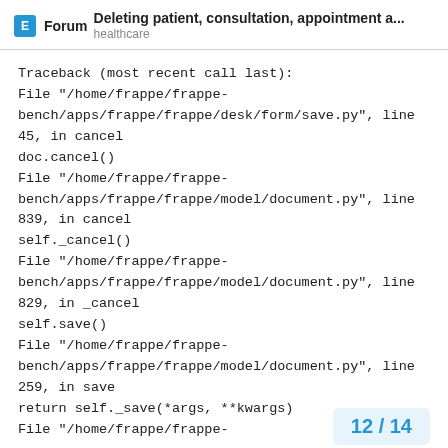Forum — Deleting patient, consultation, appointment a... healthcare
Traceback (most recent call last):
File "/home/frappe/frappe-bench/apps/frappe/frappe/desk/form/save.py", line 45, in cancel
doc.cancel()
File "/home/frappe/frappe-bench/apps/frappe/frappe/model/document.py", line 839, in cancel
self._cancel()
File "/home/frappe/frappe-bench/apps/frappe/frappe/model/document.py", line 829, in _cancel
self.save()
File "/home/frappe/frappe-bench/apps/frappe/frappe/model/document.py", line 259, in save
return self._save(*args, **kwargs)
File "/home/frappe/frappe-
12 / 14